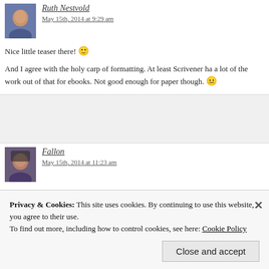Ruth Nestvold
May 15th, 2014 at 9:29 am
Nice little teaser there! 🙂
And I agree with the holy carp of formatting. At least Scrivener ha a lot of the work out of that for ebooks. Not good enough for paper though. 😐
Fallon
May 15th, 2014 at 11:23 am
I loved the snippet!
Privacy & Cookies: This site uses cookies. By continuing to use this website, you agree to their use. To find out more, including how to control cookies, see here: Cookie Policy
Close and accept